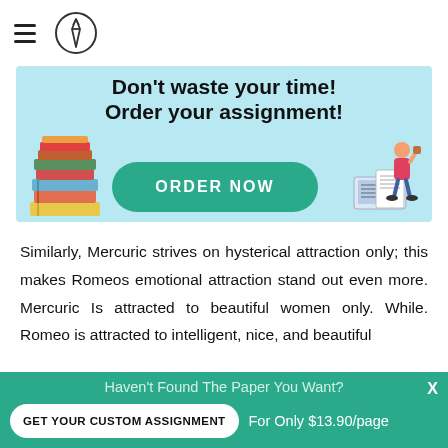[Figure (infographic): Light blue banner advertisement with text 'Don't waste your time! Order your assignment!' and a teal ORDER NOW button, illustrated with stacked books on the left and a person at a laptop on the right.]
Similarly, Mercuric strives on hysterical attraction only; this makes Romeos emotional attraction stand out even more. Mercuric Is attracted to beautiful women only. While. Romeo is attracted to intelligent, nice, and beautiful
Haven't Found The Paper You Want? GET YOUR CUSTOM ASSIGNMENT For Only $13.90/page X